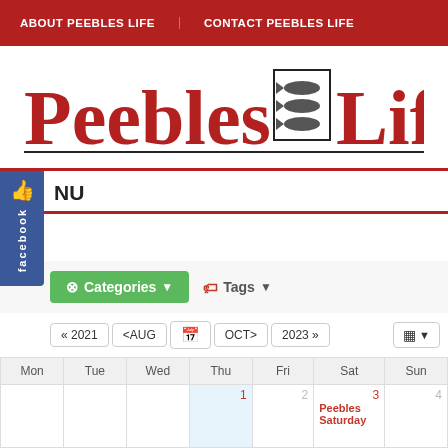ABOUT PEEBLES LIFE | CONTACT PEEBLES LIFE
[Figure (logo): Peebles Life logo with fish emblem in center]
NU
Categories  Tags
« 2021  <AUG  [calendar icon]  OCT>  2023»
| Mon | Tue | Wed | Thu | Fri | Sat | Sun |
| --- | --- | --- | --- | --- | --- | --- |
|  |  |  | 1 | 2 | 3 | 4 |